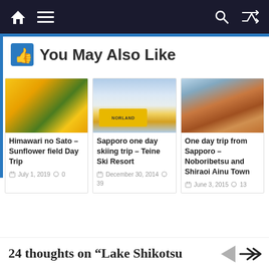Navigation bar with home, menu, search, and shuffle icons
You May Also Like
[Figure (photo): Sunflower field photo thumbnail]
Himawari no Sato – Sunflower field Day Trip
July 1, 2019  0
[Figure (photo): Yellow bus in snowy winter landscape thumbnail]
Sapporo one day skiing trip – Teine Ski Resort
December 30, 2014  39
[Figure (photo): Rocky cliffside with steam, Noboribetsu thumbnail]
One day trip from Sapporo – Noboribetsu and Shiraoi Ainu Town
June 3, 2015  13
24 thoughts on "Lake Shikotsu